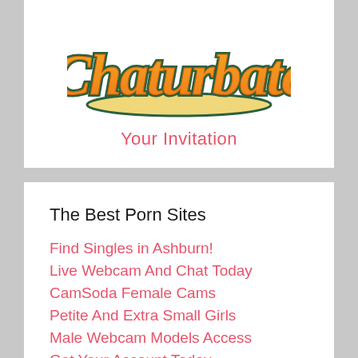[Figure (logo): Chaturbate logo: orange/yellow cursive text with teal outline on a yellow banner underline]
Your Invitation
The Best Porn Sites
Find Singles in Ashburn!
Live Webcam And Chat Today
CamSoda Female Cams
Petite And Extra Small Girls
Male Webcam Models Access
Get Your Account Today
Find Sexy Singles in Ashburn!